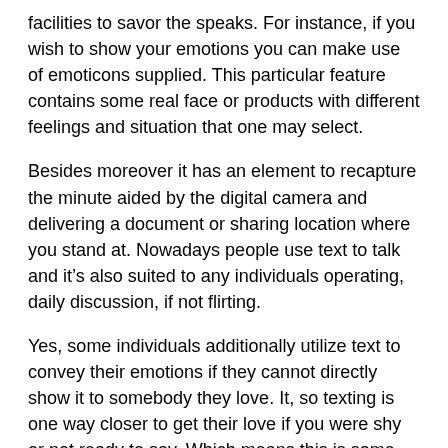facilities to savor the speaks. For instance, if you wish to show your emotions you can make use of emoticons supplied. This particular feature contains some real face or products with different feelings and situation that one may select.
Besides moreover it has an element to recapture the minute aided by the digital camera and delivering a document or sharing location where you stand at. Nowadays people use text to talk and it’s also suited to any individuals operating, daily discussion, if not flirting.
Yes, some individuals additionally utilize text to convey their emotions if they cannot directly show it to somebody they love. It, so texting is one way closer to get their love if you were shy or not ready to say. Which means this is some description about how to create your crush autumn deeply in love with you in one single touch of one’s little finger:
1.